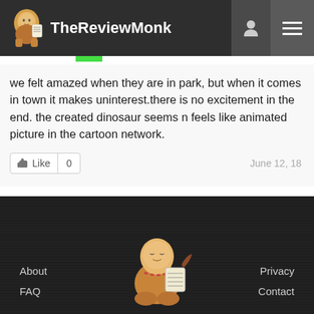TheReviewMonk
we felt amazed when they are in park, but when it comes in town it makes uninterest.there is no excitement in the end. the created dinosaur seems n feels like animated picture in the cartoon network.
Like 0   June 12, 18
All Audience Reviews (1)
About  FAQ  Privacy  Contact